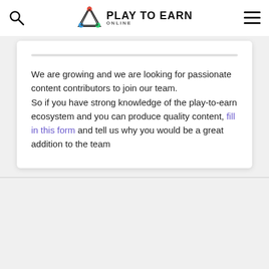Play To Earn Online
We are growing and we are looking for passionate content contributors to join our team. So if you have strong knowledge of the play-to-earn ecosystem and you can produce quality content, fill in this form and tell us why you would be a great addition to the team